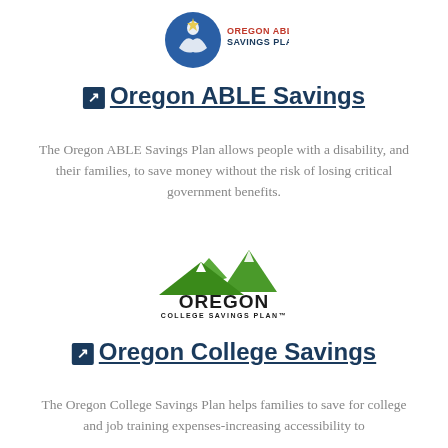[Figure (logo): Oregon ABLE Savings Plan logo — blue circular emblem with stylized figures and a star, with 'OREGON ABLE SAVINGS PLAN' text in blue and red]
Oregon ABLE Savings
The Oregon ABLE Savings Plan allows people with a disability, and their families, to save money without the risk of losing critical government benefits.
[Figure (logo): Oregon College Savings Plan logo — green mountain range illustration above 'OREGON' in large bold black letters and 'COLLEGE SAVINGS PLAN' in smaller text]
Oregon College Savings
The Oregon College Savings Plan helps families to save for college and job training expenses-increasing accessibility to